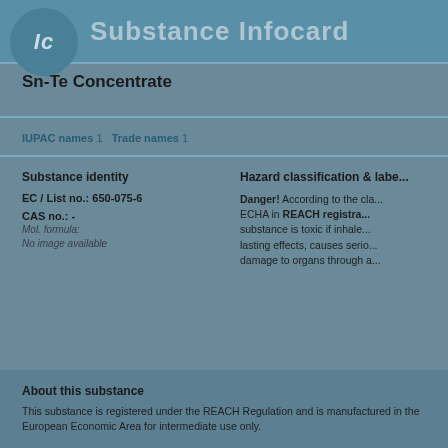Ic  Substance Infocard
Sn-Te Concentrate
IUPAC names 1  Trade names 1
Substance identity
EC / List no.: 650-075-6
CAS no.: -
Mol. formula:
No image available
Hazard classification & labelling
Danger! According to the classification provided by companies to ECHA in REACH registrations, this substance is toxic if inhaled, has long lasting effects, causes serious damage to organs through a
About this substance
This substance is registered under the REACH Regulation and is manufactured in the European Economic Area for intermediate use only.